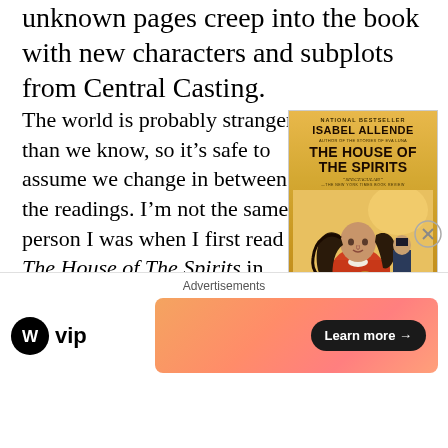unknown pages creep into the book with new characters and subplots from Central Casting.
The world is probably stranger than we know, so it’s safe to assume we change in between the readings. I’m not the same person I was when I first read The House of The Spirits in 1986 when my Bantam mass market paperback edition was
[Figure (photo): Book cover of The House of The Spirits by Isabel Allende. National Bestseller. Shows a woman in a red dress holding a birdcage with long flowing hair, with a man in a suit behind her. Gold/yellow background.]
Advertisements
[Figure (logo): WordPress.com VIP logo with WordPress circle icon and 'vip' text]
[Figure (infographic): Advertisement banner with orange/salmon gradient background and a 'Learn more →' button in dark pill shape]